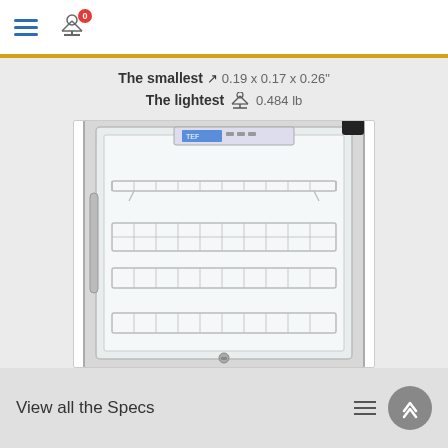Navigation bar with hamburger menu and compare icon (badge: 0)
The smallest 0.19 x 0.17 x 0.26"
The lightest 0.484 lb
[Figure (photo): Front view of a stainless steel glass-door refrigerator with wire shelves and digital temperature display at top]
View all the Specs